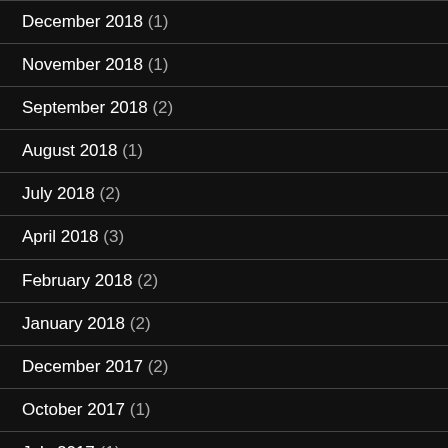December 2018 (1)
November 2018 (1)
September 2018 (2)
August 2018 (1)
July 2018 (2)
April 2018 (3)
February 2018 (2)
January 2018 (2)
December 2017 (2)
October 2017 (1)
July 2017 (1)
June 2017 (3)
May 2017 (1)